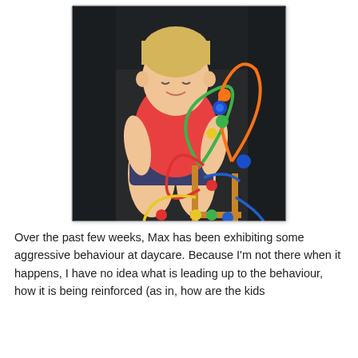[Figure (photo): A young blonde child in a red shirt sitting on a black leather sofa, playing with a colorful bead maze toy with green, orange, red, yellow, and blue wire loops and wooden beads.]
Over the past few weeks, Max has been exhibiting some aggressive behaviour at daycare. Because I'm not there when it happens, I have no idea what is leading up to the behaviour, how it is being reinforced (as in, how are the kids